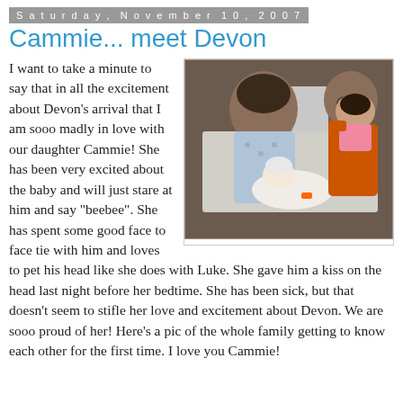Saturday, November 10, 2007
Cammie... meet Devon
[Figure (photo): Family photo in hospital room: a woman in a hospital gown lying in bed holds a newborn baby, while another woman in an orange shirt holds a baby/toddler in pink, all looking at the newborn.]
I want to take a minute to say that in all the excitement about Devon's arrival that I am sooo madly in love with our daughter Cammie! She has been very excited about the baby and will just stare at him and say "beebee". She has spent some good face to face tie with him and loves to pet his head like she does with Luke. She gave him a kiss on the head last night before her bedtime. She has been sick, but that doesn't seem to stifle her love and excitement about Devon. We are sooo proud of her! Here's a pic of the whole family getting to know each other for the first time. I love you Cammie!